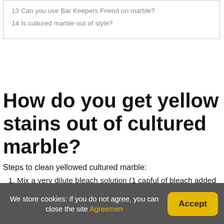13 Can you use Bar Keepers Friend on marble?
14 Is cultured marble out of style?
How do you get yellow stains out of cultured marble?
Steps to clean yellowed cultured marble:
Mix a very dilute bleach solution (1 capful of bleach added to a 32 oz. / quart spray bottle full of water).
Allow the dilute bleach solution to dwell on the surface for 5 minutes.
Scrub gently with a non-abrasive pad.
We store cookies: if you do not agree, you can close the site Agreemen